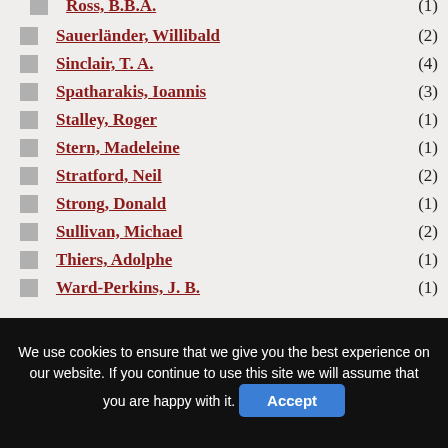Ross, B.B.A. (1)
Sauerländer, Willibald (2)
Sinclair, T. A. (4)
Spatharakis, Ioannis (3)
Stalley, Roger (1)
Stern, Madeleine (1)
Stratford, Neil (2)
Strong, Donald (1)
Sullivan, Michael (2)
Thiers, Adolphe (1)
Ward-Perkins, J. B. (1)
We use cookies to ensure that we give you the best experience on our website. If you continue to use this site we will assume that you are happy with it. Accept